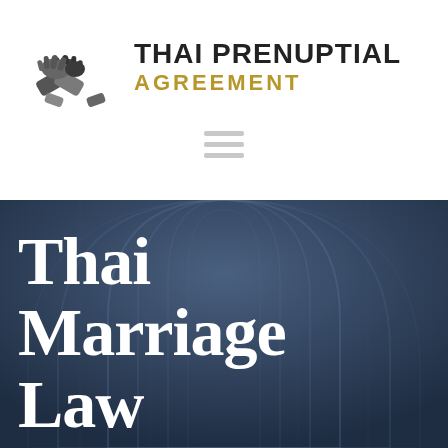[Figure (logo): Thai Prenuptial Agreement logo with two hands shaking in grey, and text 'THAI PRENUPTIAL' in black bold and 'AGREEMENT' in golden letters]
[Figure (other): Small grey hamburger/menu icon (three horizontal lines)]
[Figure (photo): Dark blue background with arched architectural motifs, overlaid with large white serif text reading 'Thai Marriage Law']
Thai Marriage Law